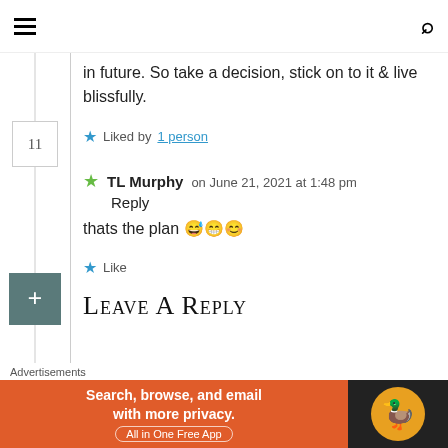Navigation header with hamburger menu and search icon
in future. So take a decision, stick on to it & live blissfully.
★ Liked by 1 person
★ TL Murphy on June 21, 2021 at 1:48 pm Reply
thats the plan 😅😁😊
★ Like
Leave a Reply
Advertisements
[Figure (other): DuckDuckGo advertisement banner: Search, browse, and email with more privacy. All in One Free App]